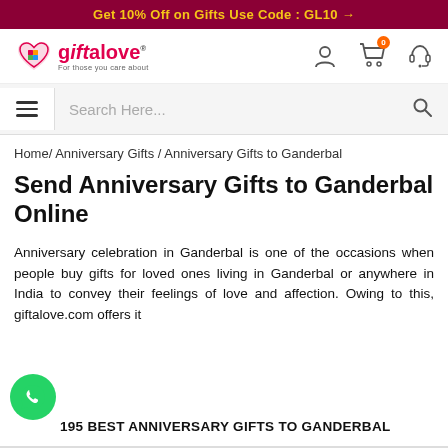Get 10% Off on Gifts Use Code : GL10 →
[Figure (logo): Giftalove logo with heart icon and tagline 'For those you care about']
Search Here...
Home/ Anniversary Gifts / Anniversary Gifts to Ganderbal
Send Anniversary Gifts to Ganderbal Online
Anniversary celebration in Ganderbal is one of the occasions when people buy gifts for loved ones living in Ganderbal or anywhere in India to convey their feelings of love and affection. Owing to this, giftalove.com offers it
195 BEST ANNIVERSARY GIFTS TO GANDERBAL